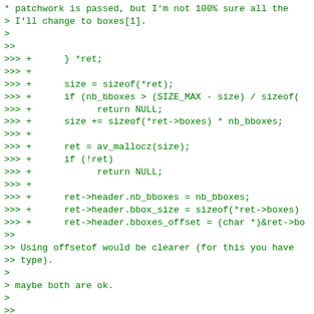* patchwork is passed, but I'm not 100% sure all the
> I'll change to boxes[1].
>
>>
>>> +      } *ret;
>>> +
>>> +      size = sizeof(*ret);
>>> +      if (nb_bboxes > (SIZE_MAX - size) / sizeof(
>>> +            return NULL;
>>> +      size += sizeof(*ret->boxes) * nb_bboxes;
>>> +
>>> +      ret = av_mallocz(size);
>>> +      if (!ret)
>>> +            return NULL;
>>> +
>>> +      ret->header.nb_bboxes = nb_bboxes;
>>> +      ret->header.bbox_size = sizeof(*ret->boxes)
>>> +      ret->header.bboxes_offset = (char *)&ret->bo
>>
>> Using offsetof would be clearer (for this you have
>> type).
>
> maybe both are ok.
>
>>
>>> +
>>> +      if (out_size)
>>> +            *out_size = sizeof(*ret);
>>> +
>>> +      return &ret->header;
>>> +}
>>> +